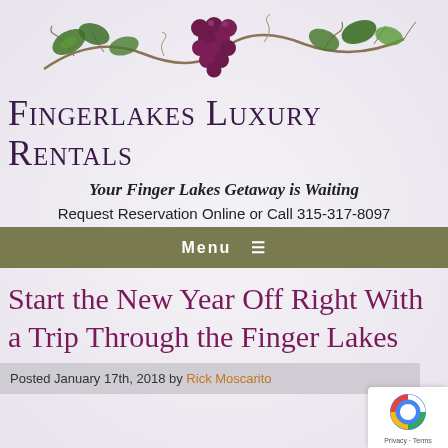[Figure (illustration): Decorative vine with grape leaves and a cluster of dark purple grapes, with curling tendrils, used as a header logo illustration]
Fingerlakes Luxury Rentals
Your Finger Lakes Getaway is Waiting
Request Reservation Online or Call 315-317-8097
Menu ≡
Start the New Year Off Right With a Trip Through the Finger Lakes
Posted January 17th, 2018 by Rick Moscarito